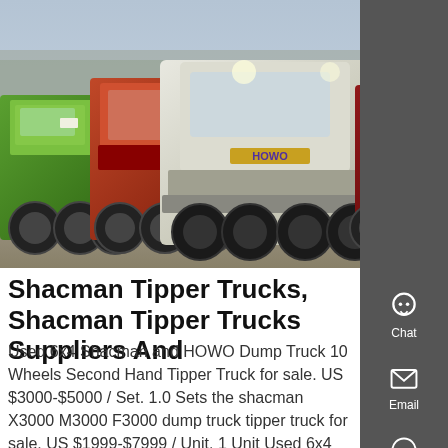[Figure (photo): Photo of multiple heavy trucks parked side by side: a green Foton truck on the left, a red truck in the middle-left, a large white HOWO tractor unit in the center, and a dark red truck on the right. Background shows bare winter trees.]
Shacman Tipper Trucks, Shacman Tipper Trucks Suppliers And
Used 6x4 Shacman and HOWO Dump Truck 10 Wheels Second Hand Tipper Truck for sale. US $3000-$5000 / Set. 1.0 Sets the shacman X3000 M3000 F3000 dump truck tipper truck for sale. US $1999-$7999 / Unit. 1 Unit Used 6x4 Shacman F3000 Dump Truck 10 Wheels Tipper Truck for sale. US $8000-$9000 / Unit. 1.0 Units